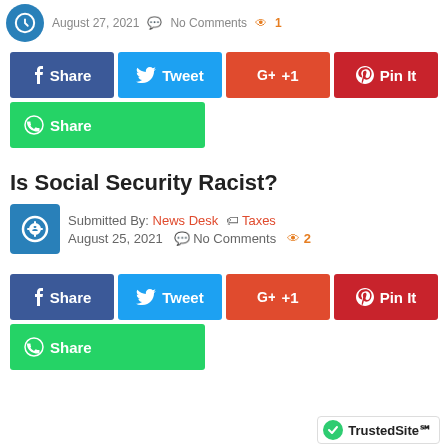August 27, 2021  No Comments  1
[Figure (infographic): Social share buttons row: Facebook Share, Tweet, G+ +1, Pin It]
[Figure (infographic): WhatsApp Share button]
Is Social Security Racist?
Submitted By: News Desk  Taxes  August 25, 2021  No Comments  2
[Figure (infographic): Social share buttons row: Facebook Share, Tweet, G+ +1, Pin It]
[Figure (infographic): WhatsApp Share button]
[Figure (logo): TrustedSite badge]